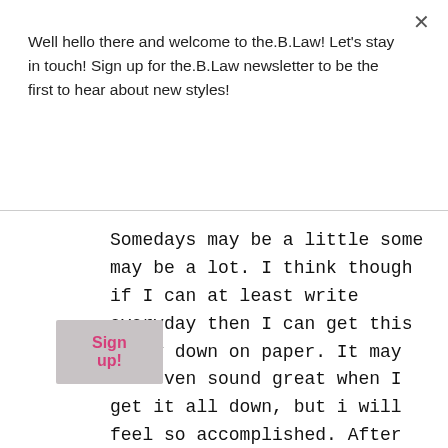Well hello there and welcome to the.B.Law! Let's stay in touch! Sign up for the.B.Law newsletter to be the first to hear about new styles!
Sign up!
Somedays may be a little some may be a lot. I think though if I can at least write everyday then I can get this story down on paper. It may not even sound great when I get it all down, but i will feel so accomplished. After that comes editing so I know eventually I can make it great. So please hold me accountable, writing every day!